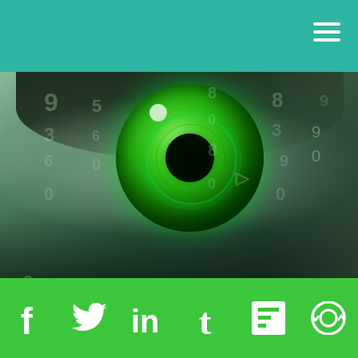[Figure (photo): Teal/green navigation header bar with hamburger menu icon (three white horizontal lines) at top right]
[Figure (photo): Close-up of a human eye with a glowing green iris overlaid with falling digital numbers and binary data streams, cyberpunk/sci-fi aesthetic in dark green tones]
The Cybernetic Theory of Mind
[Figure (photo): Blue-tinted futuristic second image panel with light beams and cloud-like background]
[Figure (infographic): Green footer bar containing six social media icons: Facebook (f), Twitter (bird), LinkedIn (in), Tumblr (t), Flipboard (F), and a camera/sync icon]